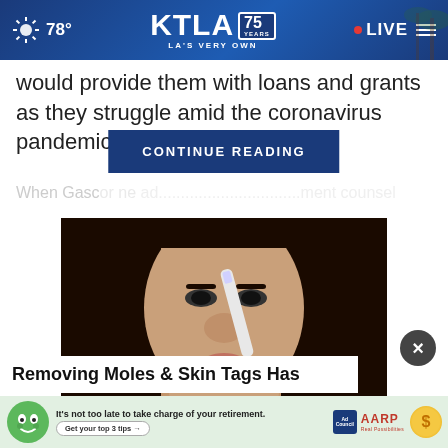KTLA 75 Years — LA's Very Own | 78° | LIVE
would provide them with loans and grants as they struggle amid the coronavirus pandemic.
CONTINUE READING
When Gasc... ad... ment counsel
[Figure (photo): Woman applying something to her nose with a brush or instrument, close-up beauty/health photo]
Removing Moles & Skin Tags Has
It's not too late to take charge of your retirement. Get your top 3 tips →  Ad Council  AARP Real Possibilities